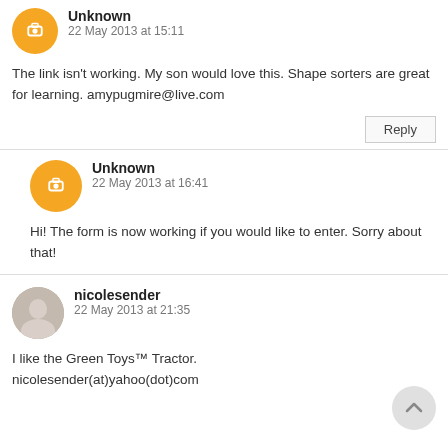Unknown
22 May 2013 at 15:11
The link isn't working. My son would love this. Shape sorters are great for learning. amypugmire@live.com
Unknown
22 May 2013 at 16:41
Hi! The form is now working if you would like to enter. Sorry about that!
nicolesender
22 May 2013 at 21:35
I like the Green Toys™ Tractor. nicolesender(at)yahoo(dot)com